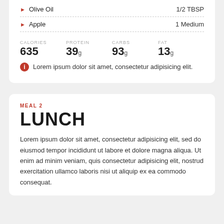Olive Oil — 1/2 TBSP
Apple — 1 Medium
CALORIES 635  PROTEIN 39g  CARBS 93g  FAT 13g
Lorem ipsum dolor sit amet, consectetur adipisicing elit.
MEAL 2
LUNCH
Lorem ipsum dolor sit amet, consectetur adipisicing elit, sed do eiusmod tempor incididunt ut labore et dolore magna aliqua. Ut enim ad minim veniam, quis consectetur adipisicing elit, nostrud exercitation ullamco laboris nisi ut aliquip ex ea commodo consequat.